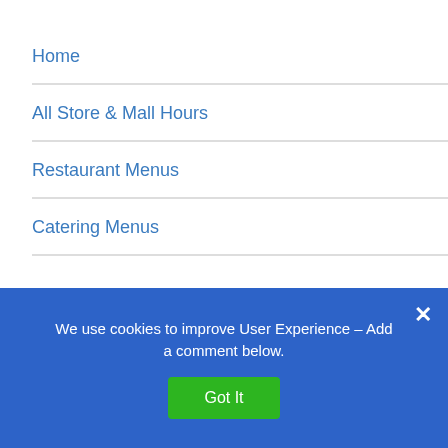Home
All Store & Mall Hours
Restaurant Menus
Catering Menus
POPULAR COMPANIES
Valley View Center Dallas Fort Worth TX Hours
Best Buy Holiday Hours ~ Closed/Open
We use cookies to improve User Experience – Add a comment below.